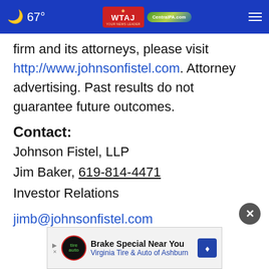67° WTAJ CentralPA.com
firm and its attorneys, please visit http://www.johnsonfistel.com. Attorney advertising. Past results do not guarantee future outcomes.
Contact:
Johnson Fistel, LLP
Jim Baker, 619-814-4471
Investor Relations
jimb@johnsonfistel.com
[Figure (screenshot): Close button (X) circle in dark gray]
[Figure (infographic): Advertisement banner: Brake Special Near You - Virginia Tire & Auto of Ashburn]